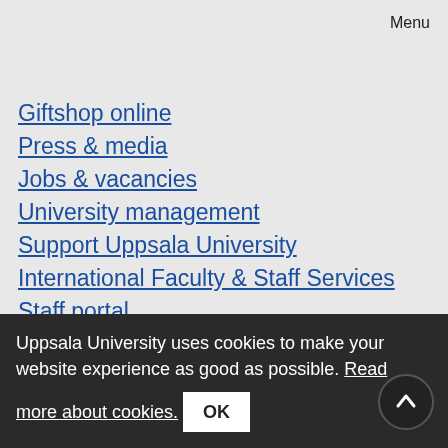Menu
Giftshop online
Press & media
Jobs & vacancies
University management
Support Uppsala University
International Faculty & Staff Services
Staff portal
© Uppsala University
Tel.: +46 18 471 00 00
P.O. Box 256, SE-751 05 Uppsala, SWEDEN
Registration number: 202100-2932
Uppsala University uses cookies to make your website experience as good as possible. Read more about cookies.